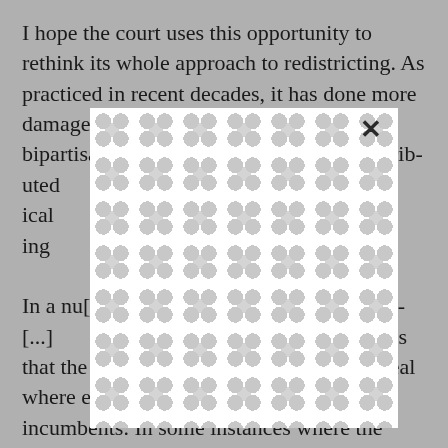I hope the court uses this opportunity to rethink its whole approach to redistricting. As practiced in recent decades, it has done more damage than anything else to comity, bipartisanship and moderation. It has contributed to ideological narrowing that produces the most absurd results.

In a number of states, the parties nationwide have a typical dynamic is that the two parties in a state work out a deal where each side gets to protect its own incumbents. In some instances where the parties can't agree, Republicans have worked with
[Figure (other): A white overlay panel with a decorative interlocking circles/bubbles pattern in light gray, partially obscuring the text behind it. A close (×) button appears in the upper right corner of the overlay.]